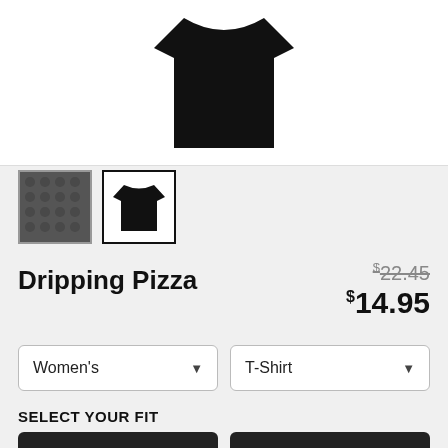[Figure (photo): Black t-shirt product photo on white background]
[Figure (photo): Thumbnail 1: dark pattern close-up of t-shirt fabric]
[Figure (photo): Thumbnail 2: full black t-shirt, selected (active)]
Dripping Pizza
$22.45 (strikethrough original price)
$14.95 (sale price)
Women's (dropdown)
T-Shirt (dropdown)
SELECT YOUR FIT